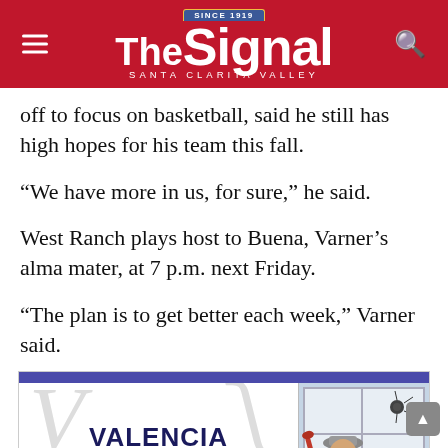The Signal — Santa Clarita Valley
off to focus on basketball, said he still has high hopes for his team this fall.
“We have more in us, for sure,” he said.
West Ranch plays host to Buena, Varner’s alma mater, at 7 p.m. next Friday.
“The plan is to get better each week,” Varner said.
[Figure (logo): Advertisement for Valencia Custom Shower Doors showing company logo and a child with a baseball bat next to a window.]